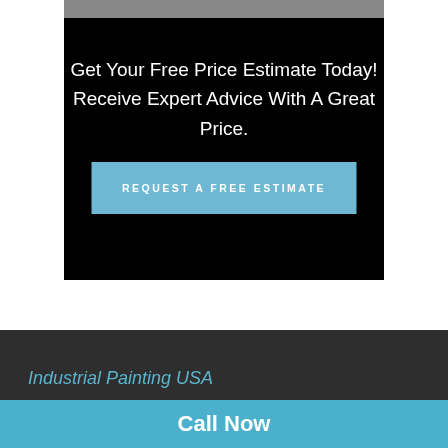Get Your Free Price Estimate Today!
Receive Expert Advice With A Great Price.
REQUEST A FREE ESTIMATE
Industrial Painting USA
Call Now